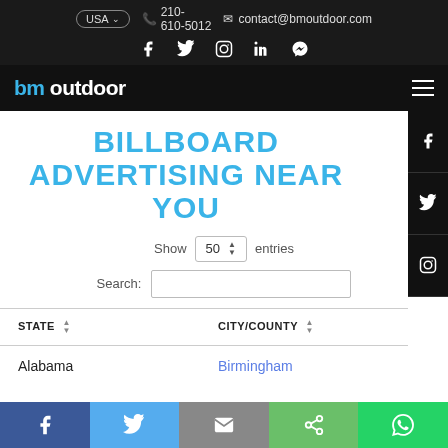USA | 210-610-5012 | contact@bmoutdoor.com
[Figure (screenshot): bm outdoor navigation bar with logo and hamburger menu]
BILLBOARD ADVERTISING NEAR YOU
Show 50 entries
Search:
| STATE | CITY/COUNTY |
| --- | --- |
| Alabama | Birmingham |
[Figure (infographic): Social sharing buttons bar: Facebook, Twitter, Email, Share, WhatsApp]